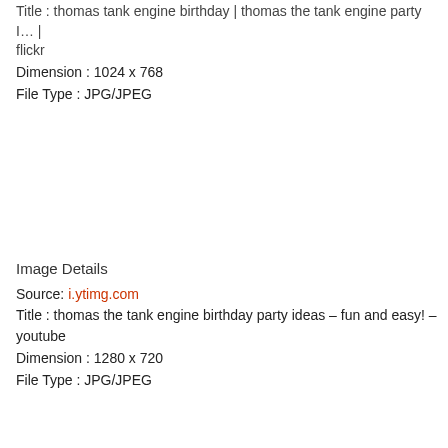Title : thomas tank engine birthday | thomas the tank engine party I… | flickr
Dimension : 1024 x 768
File Type : JPG/JPEG
Image Details
Source: i.ytimg.com
Title : thomas the tank engine birthday party ideas – fun and easy! – youtube
Dimension : 1280 x 720
File Type : JPG/JPEG